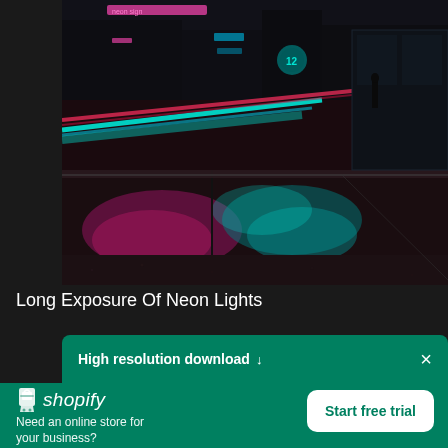[Figure (photo): Long exposure night street photography showing neon lights with motion blur streaks of cyan and red/pink light reflecting on wet pavement. Urban scene with storefronts visible in background.]
Long Exposure Of Neon Lights
High resolution download ↓
[Figure (logo): Shopify logo: white shopping bag icon with 'shopify' wordmark in italic white text on green background]
Need an online store for your business?
Start free trial